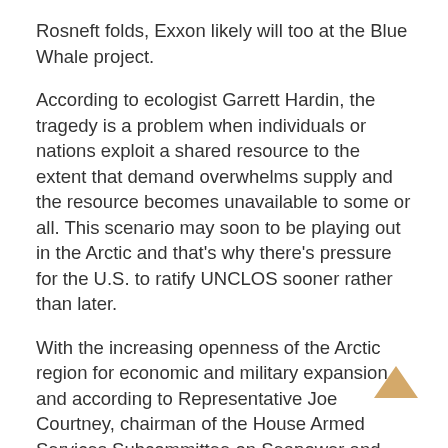Rosneft folds, Exxon likely will too at the Blue Whale project.
According to ecologist Garrett Hardin, the tragedy is a problem when individuals or nations exploit a shared resource to the extent that demand overwhelms supply and the resource becomes unavailable to some or all. This scenario may soon to be playing out in the Arctic and that's why there's pressure for the U.S. to ratify UNCLOS sooner rather than later.
With the increasing openness of the Arctic region for economic and military expansion, and according to Representative Joe Courtney, chairman of the House Armed Services Subcommittee on Seapower and Projection Forces,
“there’s little time to waste to ensure the U.S. can